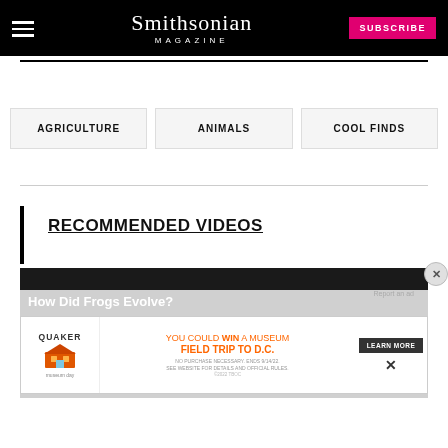Smithsonian Magazine
AGRICULTURE
ANIMALS
COOL FINDS
RECOMMENDED VIDEOS
[Figure (screenshot): Video thumbnail showing 'How Did Frogs Evolve?' with dark background]
[Figure (screenshot): Quaker Museum Day advertisement banner: YOU COULD WIN A MUSEUM FIELD TRIP TO D.C. LEARN MORE]